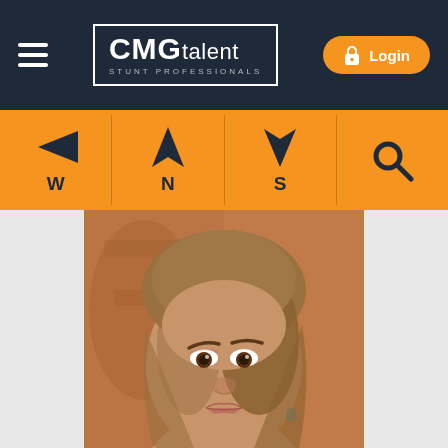CMG talent — STUNT PROFESSIONALS — Login
[Figure (infographic): Navigation bar with directional arrows: W (left arrow), N (up arrow), S (down arrow), and a search icon]
[Figure (photo): Headshot photo of a woman with light brown hair, looking directly at the camera, against an orange/brick background]